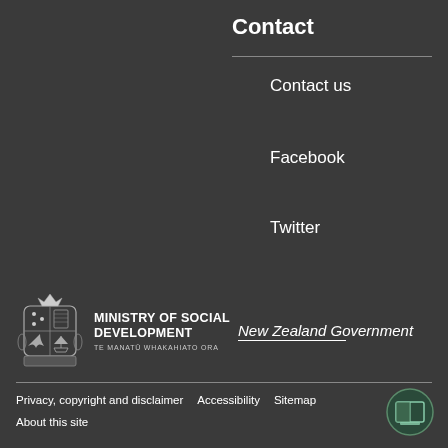Contact
Contact us
Facebook
Twitter
[Figure (logo): Ministry of Social Development logo with coat of arms and New Zealand Government text]
Privacy, copyright and disclaimer   Accessibility   Sitemap   About this site